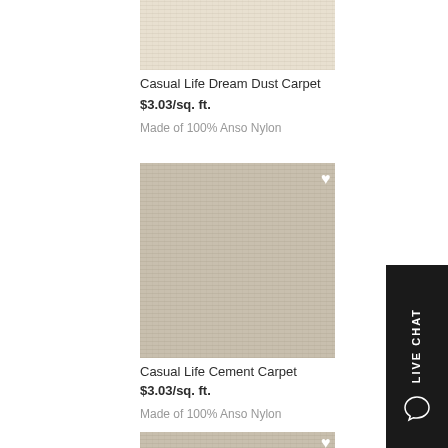[Figure (photo): Casual Life Dream Dust Carpet swatch - beige/cream textured carpet sample, partially cropped at top]
Casual Life Dream Dust Carpet
$3.03/sq. ft.
Made of 100% Anso Nylon
[Figure (photo): Casual Life Cement Carpet swatch - gray/taupe textured carpet sample with white heart/favorite icon]
Casual Life Cement Carpet
$3.03/sq. ft.
Made of 100% Anso Nylon
[Figure (photo): Third carpet swatch partially visible at bottom with white heart icon]